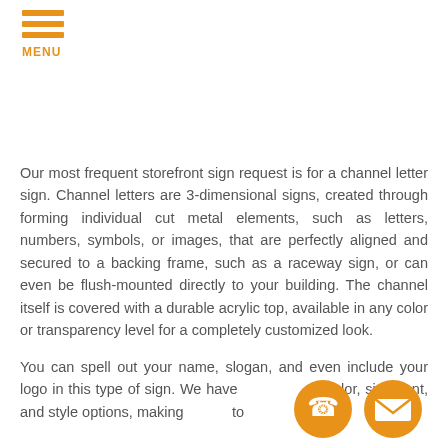MENU
Our most frequent storefront sign request is for a channel letter sign. Channel letters are 3-dimensional signs, created through forming individual cut metal elements, such as letters, numbers, symbols, or images, that are perfectly aligned and secured to a backing frame, such as a raceway sign, or can even be flush-mounted directly to your building. The channel itself is covered with a durable acrylic top, available in any color or transparency level for a completely customized look.
You can spell out your name, slogan, and even include your logo in this type of sign. We have a wide variety of color, size, font, and style options, making it easy to